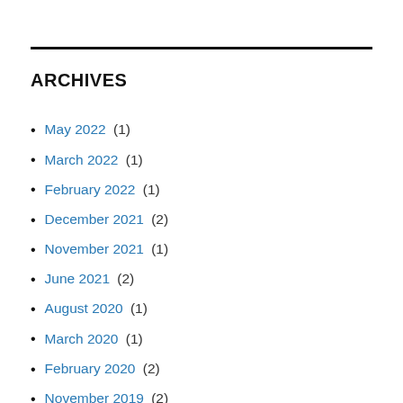ARCHIVES
May 2022 (1)
March 2022 (1)
February 2022 (1)
December 2021 (2)
November 2021 (1)
June 2021 (2)
August 2020 (1)
March 2020 (1)
February 2020 (2)
November 2019 (2)
October 2019 (2)